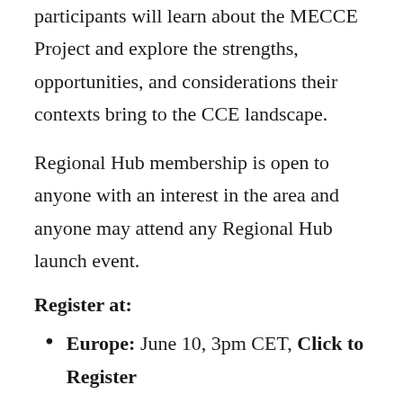participants will learn about the MECCE Project and explore the strengths, opportunities, and considerations their contexts bring to the CCE landscape.
Regional Hub membership is open to anyone with an interest in the area and anyone may attend any Regional Hub launch event.
Register at:
Europe: June 10, 3pm CET, Click to Register